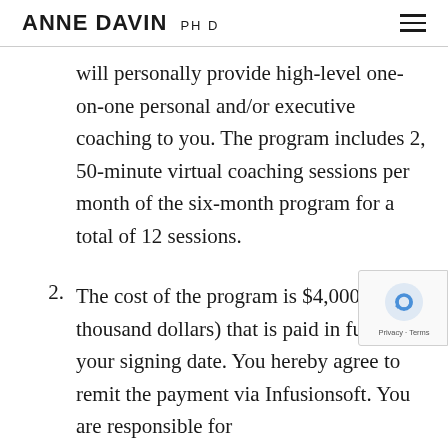ANNE DAVIN PH D
will personally provide high-level one-on-one personal and/or executive coaching to you. The program includes 2, 50-minute virtual coaching sessions per month of the six-month program for a total of 12 sessions.
2. The cost of the program is $4,000 (four thousand dollars) that is paid in full upon your signing date. You hereby agree to remit the payment via Infusionsoft. You are responsible for